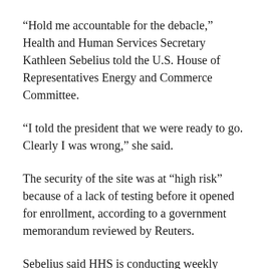“Hold me accountable for the debacle,” Health and Human Services Secretary Kathleen Sebelius told the U.S. House of Representatives Energy and Commerce Committee.
“I told the president that we were ready to go. Clearly I was wrong,” she said.
The security of the site was at “high risk” because of a lack of testing before it opened for enrollment, according to a government memorandum reviewed by Reuters.
Sebelius said HHS is conducting weekly security tests to ensure visitors are protected.